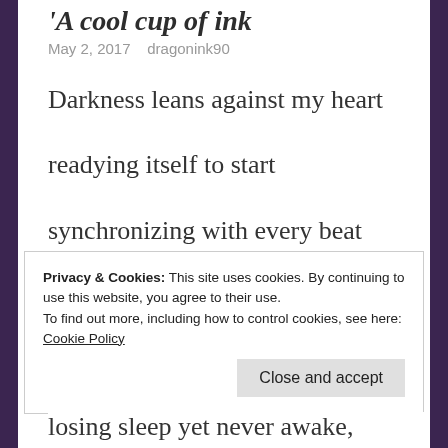A cool cup of ink
May 2, 2017   dragonink90
Darkness leans against my heart
readying itself to start
synchronizing with every beat
and drinking in the soft heat.
Privacy & Cookies: This site uses cookies. By continuing to use this website, you agree to their use.
To find out more, including how to control cookies, see here:
Cookie Policy
Close and accept
losing sleep yet never awake,